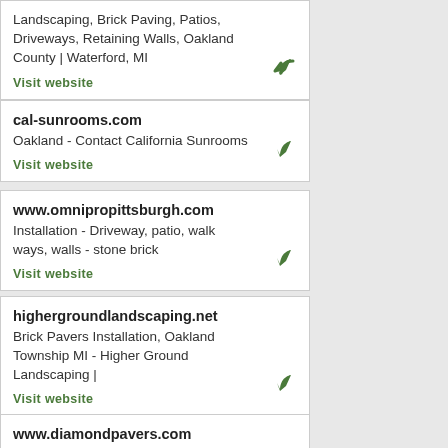Landscaping, Brick Paving, Patios, Driveways, Retaining Walls, Oakland County | Waterford, MI
Visit website
cal-sunrooms.com
Oakland - Contact California Sunrooms
Visit website
www.omnipropittsburgh.com
Installation - Driveway, patio, walk ways, walls - stone brick
Visit website
highergroundlandscaping.net
Brick Pavers Installation, Oakland Township MI - Higher Ground Landscaping |
Visit website
www.diamondpavers.com
Pavers, Paving, Diamond Pavers, Hillsborough, California, CA
Visit website